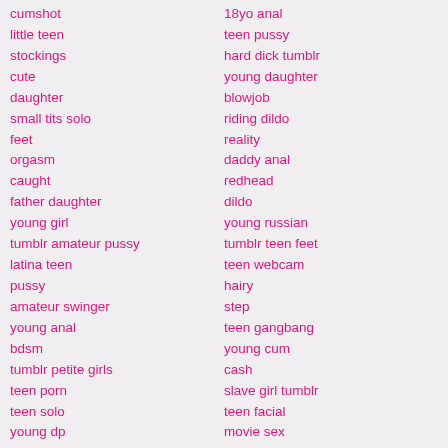cumshot
little teen
stockings
cute
daughter
small tits solo
feet
orgasm
caught
father daughter
young girl
tumblr amateur pussy
latina teen
pussy
amateur swinger
young anal
bdsm
tumblr petite girls
teen porn
teen solo
young dp
sexy girls tumblr
good fuck tumblr
teen webcam tumblr
hidden shower
tumblr love sex
milf
hairy teen tumblr
couple
solo squirt
tumblr cute nude
max hardcore
young couple
18yo anal
teen pussy
hard dick tumblr
young daughter
blowjob
riding dildo
reality
daddy anal
redhead
dildo
young russian
tumblr teen feet
teen webcam
hairy
step
teen gangbang
young cum
cash
slave girl tumblr
teen facial
movie sex
forced fuck tumblr
tiny
teen girls tumblr
college
pussy pounding tumblr
ass licking
riding
college pussy tumblr
lesbian kiss tumblr
teen masturbation
dick flash
small tits